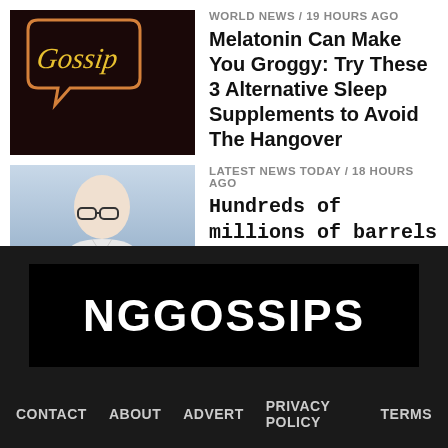[Figure (photo): Dark background with orange speech bubble and italic yellow text 'Gossip']
WORLD NEWS / 19 hours ago
Melatonin Can Make You Groggy: Try These 3 Alternative Sleep Supplements to Avoid The Hangover
[Figure (photo): Photo of a man in white clothing speaking at a microphone, blue/grey background]
LATEST NEWS TODAY / 18 hours ago
Hundreds of millions of barrels of oil are stolen or siphoned from pipelines every day in Nigeria
[Figure (logo): NGGOSSIPS logo - white bold text on black rectangle background]
CONTACT   ABOUT   ADVERT   PRIVACY POLICY   TERMS